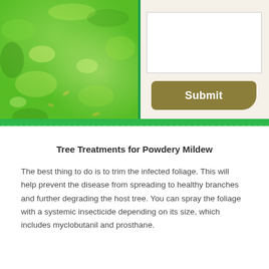[Figure (photo): Close-up photograph of lush green grass lawn from above, bright sunlight, some lighter patches visible]
[Figure (screenshot): Web form UI panel with white input text area and a dark olive/tan Submit button with rounded corners on a beige background, bordered with green]
Tree Treatments for Powdery Mildew
The best thing to do is to trim the infected foliage. This will help prevent the disease from spreading to healthy branches and further degrading the host tree. You can spray the foliage with a systemic insecticide depending on its size, which includes myclobutanil and prosthane.